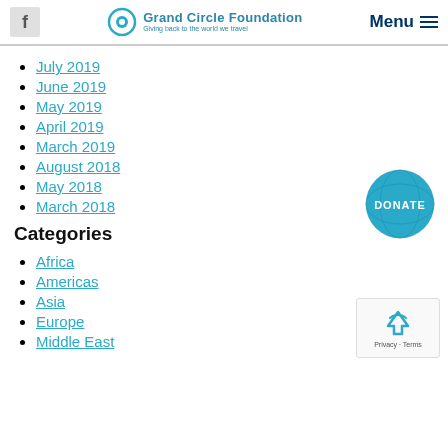Grand Circle Foundation — Giving back to the world we travel | Menu
July 2019
June 2019
May 2019
April 2019
March 2019
August 2018
May 2018
March 2018
Categories
[Figure (other): Donate button — circular teal button with world map graphic and white text DONATE]
Africa
Americas
Asia
Europe
Middle East
[Figure (other): Google reCAPTCHA widget showing recycling arrows icon and Privacy - Terms text]